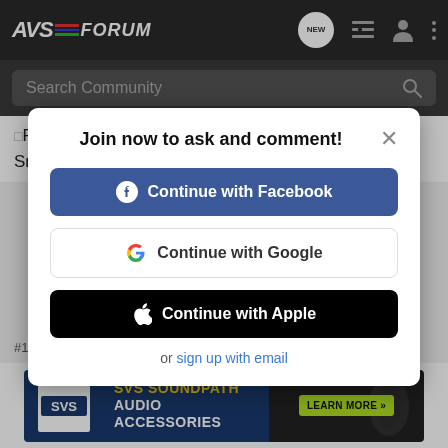AVS FORUM - navigation bar with search
Farve needs people to throw to. People like Steve Smith and M…
Join now to ask and comment!
Continue with Facebook
Continue with Google
Continue with Apple
or sign up with email
#17 · Jun 12, 2008
[Figure (screenshot): SVS SoundPath Audio Accessories advertisement banner with yellow and white text on dark blue background and a Learn More >> green button]